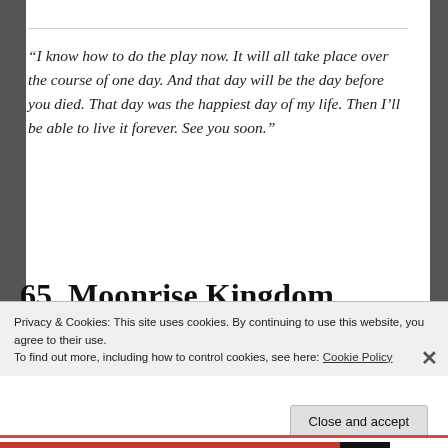“I know how to do the play now. It will all take place over the course of one day. And that day will be the day before you died. That day was the happiest day of my life. Then I’ll be able to live it forever. See you soon.”
65. Moonrise Kingdom
Privacy & Cookies: This site uses cookies. By continuing to use this website, you agree to their use.
To find out more, including how to control cookies, see here: Cookie Policy